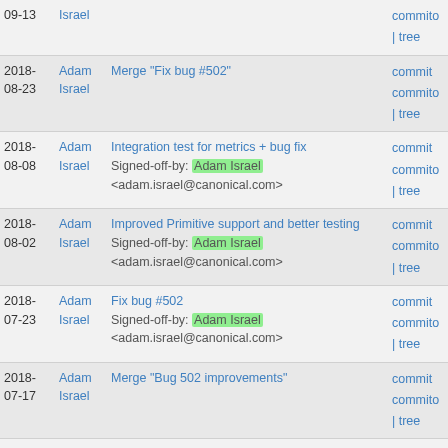| Date | Author | Message | Links |
| --- | --- | --- | --- |
| 09-13 | Israel |  | commito | tree |
| 2018-08-23 | Adam Israel | Merge "Fix bug #502" | commit commito | tree |
| 2018-08-08 | Adam Israel | Integration test for metrics + bug fix
Signed-off-by: Adam Israel <adam.israel@canonical.com> | commit commito | tree |
| 2018-08-02 | Adam Israel | Improved Primitive support and better testing
Signed-off-by: Adam Israel <adam.israel@canonical.com> | commit commito | tree |
| 2018-07-23 | Adam Israel | Fix bug #502
Signed-off-by: Adam Israel <adam.israel@canonical.com> | commit commito | tree |
| 2018-07-17 | Adam Israel | Merge "Bug 502 improvements" | commit commito | tree |
| 2018-07-17 | Adam Israel | Bug 502 improvements
Signed-off-by: Adam Israel <adam.israel@canonical.com> | commit commito | tree |
| 2018- | Adam | Fix bug #501 |  |